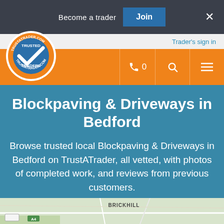Become a trader  Join  ×
Trader's sign in
[Figure (logo): TrustATrader.com circular logo with blue checkmark and orange ring, 'TRUSTED TRADERS' text]
Blockpaving & Driveways in Bedford
Browse trusted local Blockpaving & Driveways in Bedford on TrustATrader, all vetted, with photos of completed work, and reviews from previous customers.
[Figure (map): Street map snippet showing BRICKHILL area]